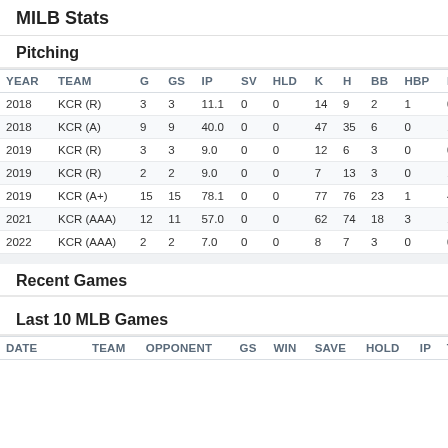MILB Stats
Pitching
| YEAR | TEAM | G | GS | IP | SV | HLD | K | H | BB | HBP | HR | P/I |
| --- | --- | --- | --- | --- | --- | --- | --- | --- | --- | --- | --- | --- |
| 2018 | KCR (R) | 3 | 3 | 11.1 | 0 | 0 | 14 | 9 | 2 | 1 | 0 | 7.0… |
| 2018 | KCR (A) | 9 | 9 | 40.0 | 0 | 0 | 47 | 35 | 6 | 0 | 1 | 6.7… |
| 2019 | KCR (R) | 3 | 3 | 9.0 | 0 | 0 | 12 | 6 | 3 | 0 | 0 | 7.3… |
| 2019 | KCR (R) | 2 | 2 | 9.0 | 0 | 0 | 7 | 13 | 3 | 0 | 1 | 2.8… |
| 2019 | KCR (A+) | 15 | 15 | 78.1 | 0 | 0 | 77 | 76 | 23 | 1 | 4 | 5.3… |
| 2021 | KCR (AAA) | 12 | 11 | 57.0 | 0 | 0 | 62 | 74 | 18 | 3 | 10 | 2.9… |
| 2022 | KCR (AAA) | 2 | 2 | 7.0 | 0 | 0 | 8 | 7 | 3 | 0 | 0 | 5.8… |
Recent Games
Last 10 MLB Games
| DATE | TEAM | OPPONENT | GS | WIN | SAVE | HOLD | IP | TBF | R… |
| --- | --- | --- | --- | --- | --- | --- | --- | --- | --- |